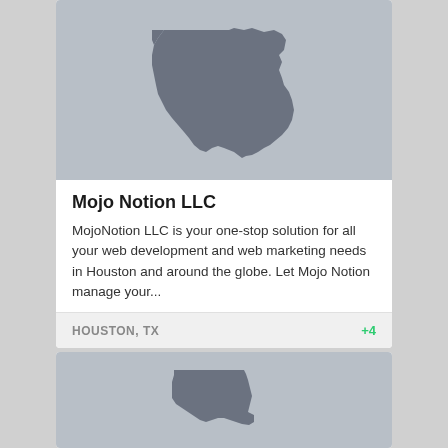[Figure (map): Gray silhouette of the state of Texas on a light gray background]
Mojo Notion LLC
MojoNotion LLC is your one-stop solution for all your web development and web marketing needs in Houston and around the globe. Let Mojo Notion manage your...
HOUSTON, TX     +4
[Figure (map): Gray silhouette of a US state (partial view) on a light gray background]